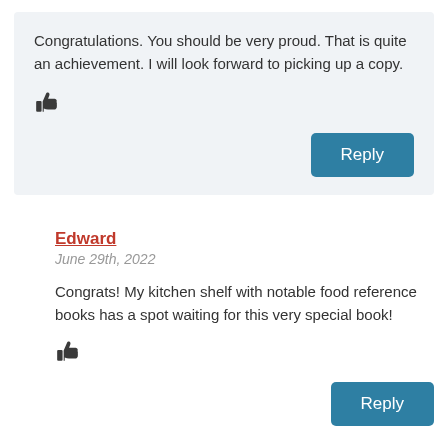Congratulations. You should be very proud. That is quite an achievement. I will look forward to picking up a copy.
👍
Reply
Edward
June 29th, 2022
Congrats! My kitchen shelf with notable food reference books has a spot waiting for this very special book!
👍
Reply